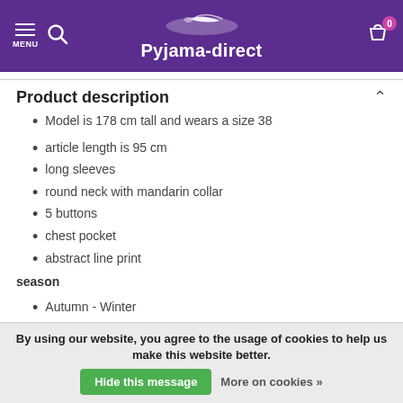MENU | Search | Pyjama-direct | Cart 0
Product description
Model is 178 cm tall and wears a size 38
article length is 95 cm
long sleeves
round neck with mandarin collar
5 buttons
chest pocket
abstract line print
season
Autumn - Winter
quality
By using our website, you agree to the usage of cookies to help us make this website better. Hide this message  More on cookies »